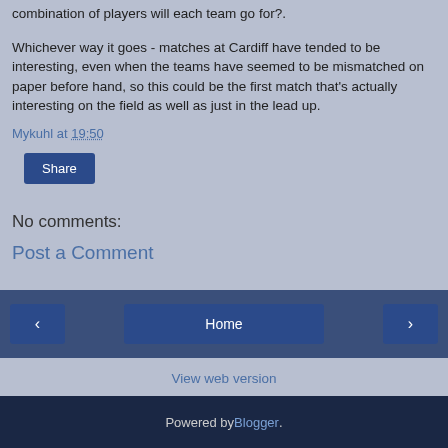combination of players will each team go for?.
Whichever way it goes - matches at Cardiff have tended to be interesting, even when the teams have seemed to be mismatched on paper before hand, so this could be the first match that's actually interesting on the field as well as just in the lead up.
Mykuhl at 19:50
Share
No comments:
Post a Comment
Home  < >  View web version  Powered by Blogger.